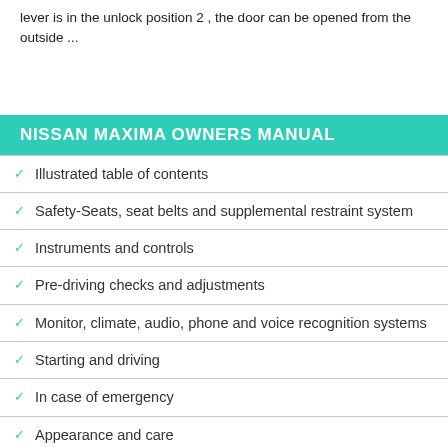lever is in the unlock position 2 , the door can be opened from the outside ...
NISSAN MAXIMA OWNERS MANUAL
Illustrated table of contents
Safety-Seats, seat belts and supplemental restraint system
Instruments and controls
Pre-driving checks and adjustments
Monitor, climate, audio, phone and voice recognition systems
Starting and driving
In case of emergency
Appearance and care
Do-it-yourself
Maintenance and schedules